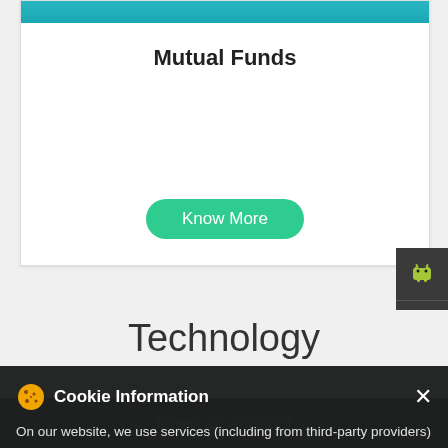Mutual Funds
[Figure (screenshot): Green Know More button inside a white card with teal header bar]
[Figure (screenshot): Android and Apple app download sidebar buttons]
Technology
Cookie Information
On our website, we use services (including from third-party providers) that help us to improve our online presence (optimization of website) and to display content that is geared to their interests. We need your consent before being able to use these services.
I ACCEPT
Open an account